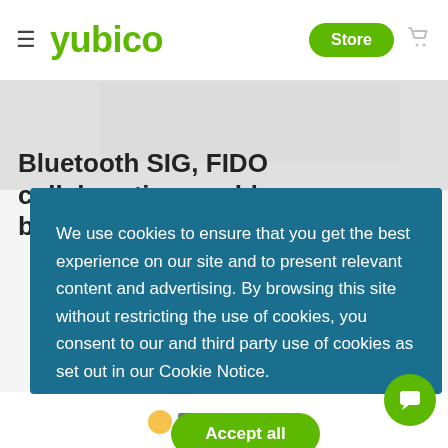yubico — Store
Bluetooth SIG, FIDO collaboration could
We use cookies to ensure that you get the best experience on our site and to present relevant content and advertising. By browsing this site without restricting the use of cookies, you consent to our and third party use of cookies as set out in our Cookie Notice.
Preferences   Accept all